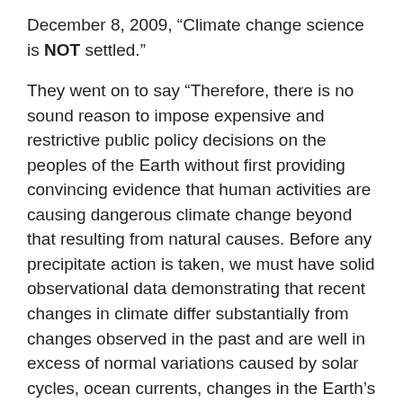December 8, 2009, “Climate change science is NOT settled.”
They went on to say “Therefore, there is no sound reason to impose expensive and restrictive public policy decisions on the peoples of the Earth without first providing convincing evidence that human activities are causing dangerous climate change beyond that resulting from natural causes. Before any precipitate action is taken, we must have solid observational data demonstrating that recent changes in climate differ substantially from changes observed in the past and are well in excess of normal variations caused by solar cycles, ocean currents, changes in the Earth’s orbital parameters and other natural phenomena.”
Despite the rhetoric, what we have today in the